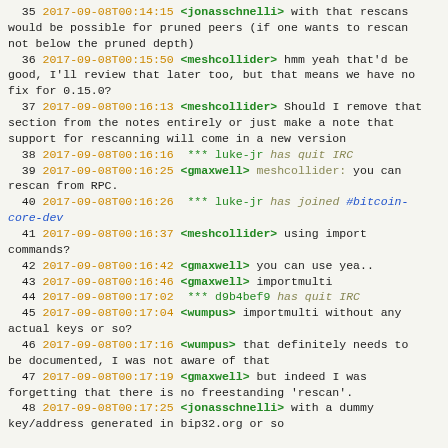35 2017-09-08T00:14:15 <jonasschnelli> with that rescans would be possible for pruned peers (if one wants to rescan not below the pruned depth)
36 2017-09-08T00:15:50 <meshcollider> hmm yeah that'd be good, I'll review that later too, but that means we have no fix for 0.15.0?
37 2017-09-08T00:16:13 <meshcollider> Should I remove that section from the notes entirely or just make a note that support for rescanning will come in a new version
38 2017-09-08T00:16:16 *** luke-jr has quit IRC
39 2017-09-08T00:16:25 <gmaxwell> meshcollider: you can rescan from RPC.
40 2017-09-08T00:16:26 *** luke-jr has joined #bitcoin-core-dev
41 2017-09-08T00:16:37 <meshcollider> using import commands?
42 2017-09-08T00:16:42 <gmaxwell> you can use yea..
43 2017-09-08T00:16:46 <gmaxwell> importmulti
44 2017-09-08T00:17:02 *** d9b4bef9 has quit IRC
45 2017-09-08T00:17:04 <wumpus> importmulti without any actual keys or so?
46 2017-09-08T00:17:16 <wumpus> that definitely needs to be documented, I was not aware of that
47 2017-09-08T00:17:19 <gmaxwell> but indeed I was forgetting that there is no freestanding 'rescan'.
48 2017-09-08T00:17:25 <jonasschnelli> with a dummy key/address generated in bip32.org or so